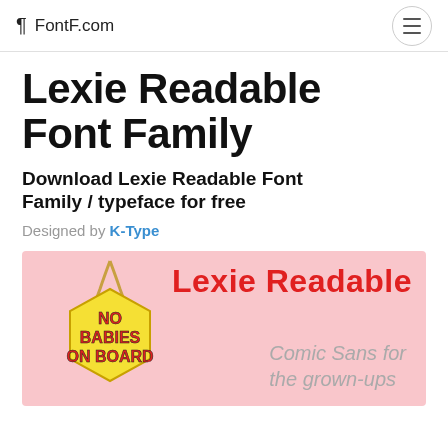¶ FontF.com
Lexie Readable Font Family
Download Lexie Readable Font Family / typeface for free
Designed by K-Type
[Figure (illustration): Preview image of Lexie Readable font on a pink background, showing a yellow hexagonal tag with 'NO BABIES ON BOARD' in red bold text, large red 'Lexie Readable' text, and grey italic 'Comic Sans for the grown-ups' text]